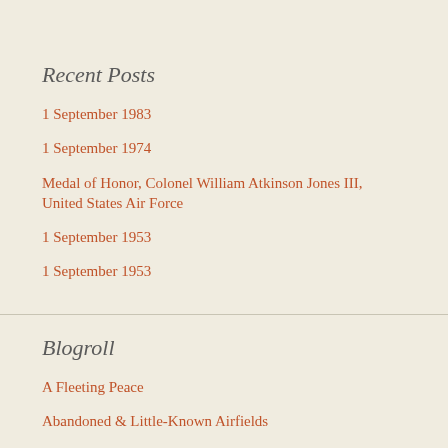Recent Posts
1 September 1983
1 September 1974
Medal of Honor, Colonel William Atkinson Jones III, United States Air Force
1 September 1953
1 September 1953
Blogroll
A Fleeting Peace
Abandoned & Little-Known Airfields
Aircraft Engine Historical Society